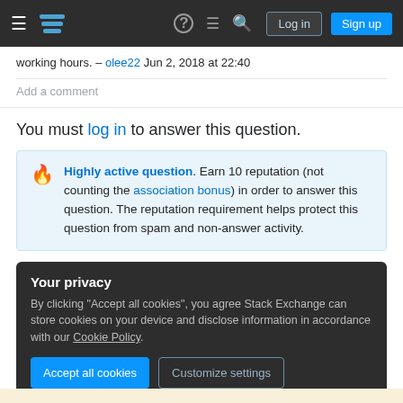Stack Exchange navigation bar with Log in and Sign up buttons
working hours. – olee22 Jun 2, 2018 at 22:40
Add a comment
You must log in to answer this question.
Highly active question. Earn 10 reputation (not counting the association bonus) in order to answer this question. The reputation requirement helps protect this question from spam and non-answer activity.
Your privacy
By clicking "Accept all cookies", you agree Stack Exchange can store cookies on your device and disclose information in accordance with our Cookie Policy.
Accept all cookies
Customize settings